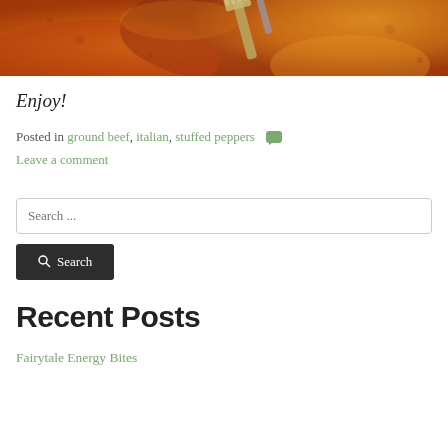[Figure (photo): Close-up photo of a fork in orange-red tomato sauce, likely stuffed peppers dish]
Enjoy!
Posted in ground beef, italian, stuffed peppers  Leave a comment
Search ...
Search
Recent Posts
Fairytale Energy Bites